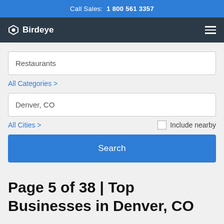Call Sales: 1 800 561 3357
[Figure (logo): Birdeye logo with navigation hamburger menu on dark navy background]
Restaurants
All Categories >
Denver, CO
All Cities >
Include nearby
Search
Page 5 of 38 | Top Businesses in Denver, CO